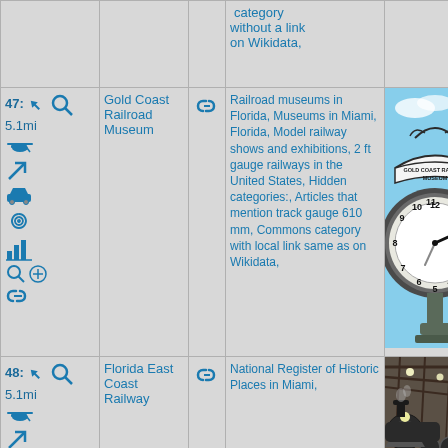category without a link on Wikidata,
47: 5.1mi
Gold Coast Railroad Museum
Railroad museums in Florida, Museums in Miami, Florida, Model railway shows and exhibitions, 2 ft gauge railways in the United States, Hidden categories:, Articles that mention track gauge 610 mm, Commons category with local link same as on Wikidata,
[Figure (photo): Clock tower sign reading GOLD COAST RAILROAD MUSEUM against blue sky]
48: 5.1mi
Florida East Coast Railway
National Register of Historic Places in Miami,
[Figure (photo): Interior of train station or railway building with locomotive]